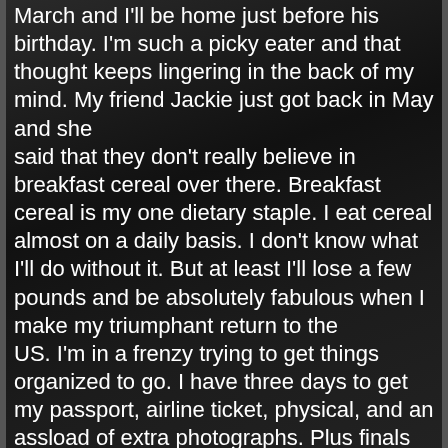March and I'll be home just before his birthday. I'm such a picky eater and that thought keeps lingering in the back of my mind. My friend Jackie just got back in May and she said that they don't really believe in breakfast cereal over there. Breakfast cereal is my one dietary staple. I eat cereal almost on a daily basis. I don't know what I'll do without it. But at least I'll lose a few pounds and be absolutely fabulous when I make my triumphant return to the US. I'm in a frenzy trying to get things organized to go. I have three days to get my passport, airline ticket, physical, and an assload of extra photographs. Plus finals start next week and I have about three months of work to do in the next five days. All that to do and I'm creating this thing. I guess that's me for ya. A.D.D. Girl out in full force. I'm supposed to be writing a marketing paper